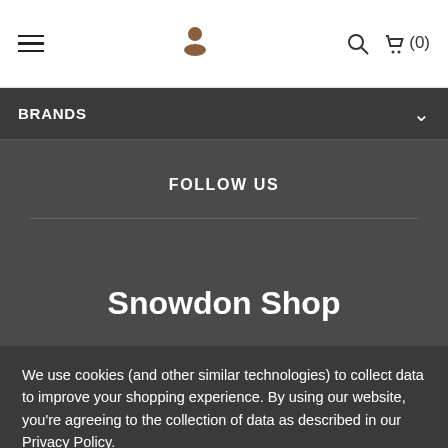Navigation bar with hamburger menu, logo, search and cart (0)
BRANDS
FOLLOW US
Snowdon Shop
We use cookies (and other similar technologies) to collect data to improve your shopping experience. By using our website, you're agreeing to the collection of data as described in our Privacy Policy.
Settings | Reject all | Accept All Cookies